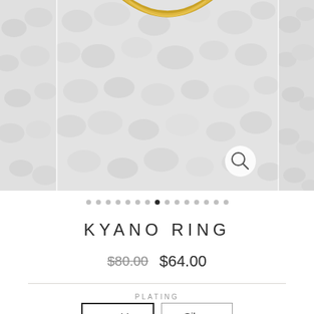[Figure (photo): Product photo of a gold ring (Kyano Ring) resting on white/grey pebbles or salt crystals. The image is shown in a horizontally scrollable carousel format with partial images visible on left and right sides. A magnifying glass zoom icon appears in the bottom right of the center image.]
● ● ● ● ● ● ● ● (filled) ● ● ● ● ● ●
KYANO RING
$80.00  $64.00
PLATING
Gold  Silver